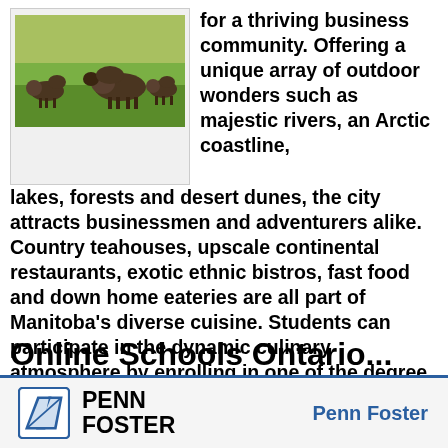[Figure (photo): Photo of bison grazing on green grassland/prairie]
for a thriving business community. Offering a unique array of outdoor wonders such as majestic rivers, an Arctic coastline, lakes, forests and desert dunes, the city attracts businessmen and adventurers alike. Country teahouses, upscale continental restaurants, exotic ethnic bistros, fast food and down home eateries are all part of Manitoba's diverse cuisine. Students can participate in the dynamic culinary atmosphere by enrolling in one of the degree programs offered by the schools in Manitoba.
Continue reading »   6620 reads
Online Schools Ontario...
[Figure (logo): Penn Foster logo — stylized parallelogram/chevron shape with PENN FOSTER text]
Penn Foster